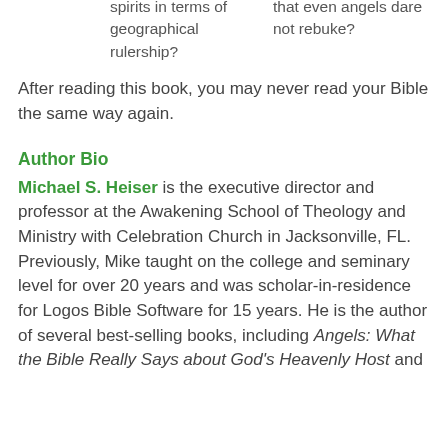spirits in terms of geographical rulership?   that even angels dare not rebuke?
After reading this book, you may never read your Bible the same way again.
Author Bio
Michael S. Heiser is the executive director and professor at the Awakening School of Theology and Ministry with Celebration Church in Jacksonville, FL. Previously, Mike taught on the college and seminary level for over 20 years and was scholar-in-residence for Logos Bible Software for 15 years. He is the author of several best-selling books, including Angels: What the Bible Really Says about God's Heavenly Host and